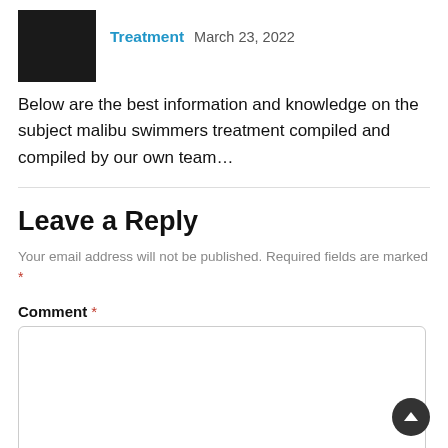[Figure (photo): Black square avatar image of an author]
Treatment   March 23, 2022
Below are the best information and knowledge on the subject malibu swimmers treatment compiled and compiled by our own team…
Leave a Reply
Your email address will not be published. Required fields are marked *
Comment *